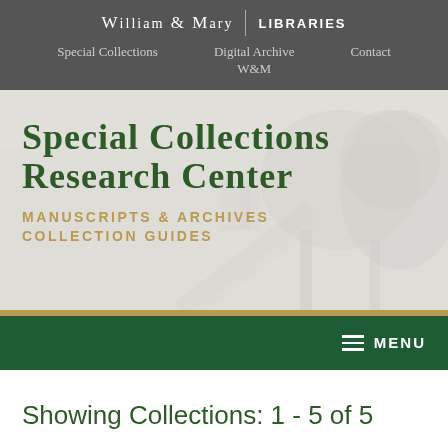William & Mary | LIBRARIES
Special Collections   Digital Archive W&M   Contact
Special Collections Research Center
Manuscripts & Archives Collection Guides
MENU
Showing Collections: 1 - 5 of 5